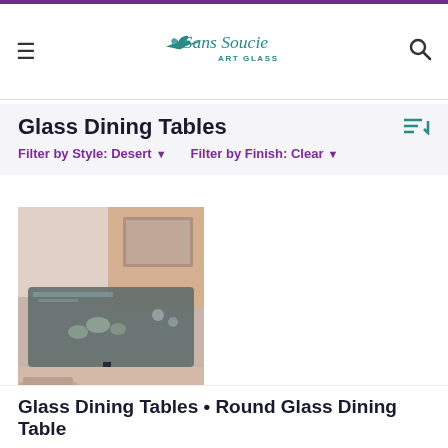Sans Soucie Art Glass
Glass Dining Tables
Filter by Style: Desert ▾   Filter by Finish: Clear ▾
[Figure (photo): Product photo of a glass dining table - Blooming Barrel Cactus design, showing a glass-topped table with decorative etching in an interior setting]
Blooming Barrel Cactus
Glass Dining Tables • Round Glass Dining Table